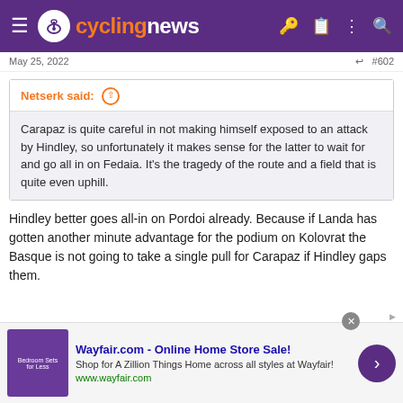cyclingnews
May 25, 2022   #602
Netserk said: ↑
Carapaz is quite careful in not making himself exposed to an attack by Hindley, so unfortunately it makes sense for the latter to wait for and go all in on Fedaia. It's the tragedy of the route and a field that is quite even uphill.
Hindley better goes all-in on Pordoi already. Because if Landa has gotten another minute advantage for the podium on Kolovrat the Basque is not going to take a single pull for Carapaz if Hindley gaps them.
[Figure (infographic): Wayfair.com advertisement banner with purple bedroom sets image, text 'Wayfair.com - Online Home Store Sale!', subtitle 'Shop for A Zillion Things Home across all styles at Wayfair!', url 'www.wayfair.com', and purple chevron button]